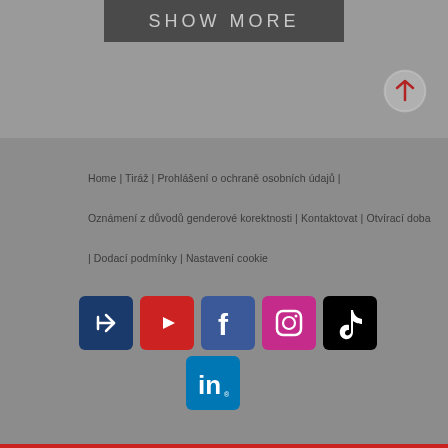SHOW MORE
[Figure (other): Scroll to top button - circle with upward arrow in dark red]
Home | Tiráž | Prohlášení o ochraně osobních údajů |
Oznámení z důvodů genderové korektnosti | Kontaktovat | Otvírací doba
| Dodací podmínky | Nastavení cookie
[Figure (logo): Social media icons row: custom blue icon, YouTube, Facebook, Instagram, TikTok, LinkedIn]